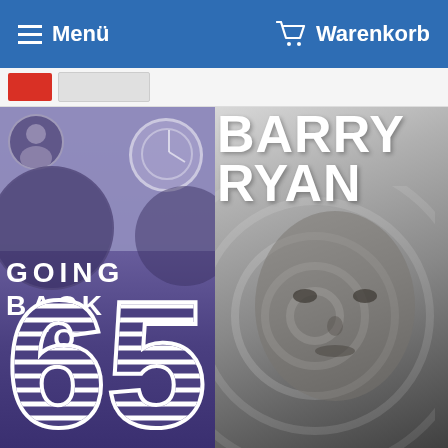Menü   Warenkorb
[Figure (photo): Left album cover: 'Going Back To 65' with purple/violet background, stylized number 65 with parallel line design at bottom, text 'GOING BACK TO' in white letters]
[Figure (photo): Right album cover: 'Barry Ryan' in large white bold text at top, black and white photo of Barry Ryan's face with concentric circle swirl overlay]